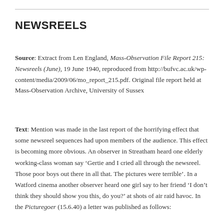NEWSREELS
Source: Extract from Len England, Mass-Observation File Report 215: Newsreels (June), 19 June 1940, reproduced from http://bufvc.ac.uk/wp-content/media/2009/06/mo_report_215.pdf. Original file report held at Mass-Observation Archive, University of Sussex
Text: Mention was made in the last report of the horrifying effect that some newsreel sequences had upon members of the audience. This effect is becoming more obvious. An observer in Streatham heard one elderly working-class woman say ‘Gertie and I cried all through the newsreel. Those poor boys out there in all that. The pictures were terrible’. In a Watford cinema another observer heard one girl say to her friend ‘I don’t think they should show you this, do you?’ at shots of air raid havoc. In the Picturegoer (15.6.40) a letter was published as follows: